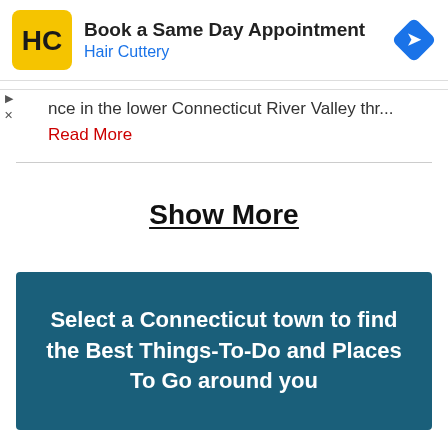[Figure (screenshot): Hair Cuttery advertisement banner with yellow HC logo, 'Book a Same Day Appointment' heading, 'Hair Cuttery' subtitle in blue, and a blue navigation arrow icon on the right]
nce in the lower Connecticut River Valley thr...
Read More
Show More
Select a Connecticut town to find the Best Things-To-Do and Places To Go around you